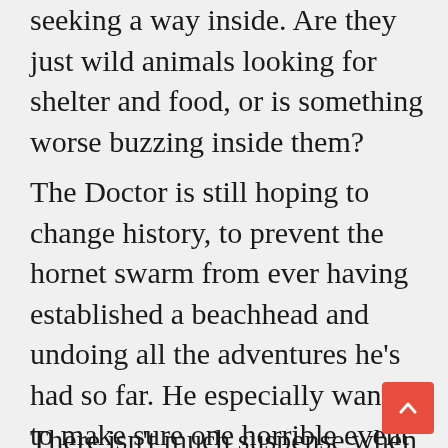seeking a way inside. Are they just wild animals looking for shelter and food, or is something worse buzzing inside them?
The Doctor is still hoping to change history, to prevent the hornet swarm from ever having established a beachhead and undoing all the adventures he's had so far. He especially wants to make sure one horrible event never happens – the story he'd just been told of the swarm issuing out of the TARDIS itself. Will he be able to change things, or is this history already set?
There isn't much suspense when the